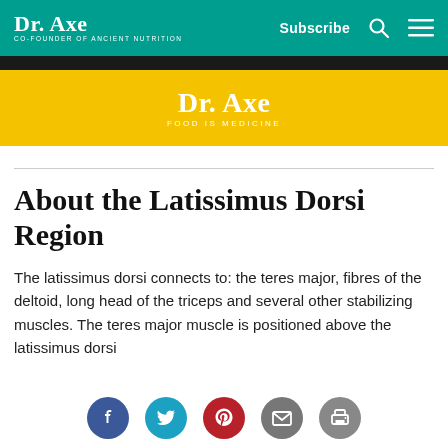Dr. Axe | Co-Founder of Ancient Nutrition | Subscribe
[Figure (logo): Dr. Axe logo banner on yellow background with text 'FOOD IS MEDICINE']
About the Latissimus Dorsi Region
The latissimus dorsi connects to: the teres major, fibres of the deltoid, long head of the triceps and several other stabilizing muscles. The teres major muscle is positioned above the latissimus dorsi
[Figure (infographic): Social media sharing icons: Facebook, Twitter, Pinterest, Email, Print]